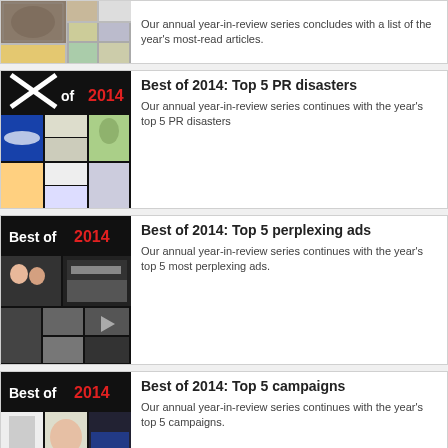[Figure (photo): Partial top card image showing a collage of news photos]
Our annual year-in-review series concludes with a list of the year's most-read articles.
[Figure (photo): Best of 2014 graphic with collage of PR disaster images including Malaysia Airlines]
Best of 2014: Top 5 PR disasters
Our annual year-in-review series continues with the year's top 5 PR disasters
[Figure (photo): Best of 2014 graphic with collage of ad video thumbnails]
Best of 2014: Top 5 perplexing ads
Our annual year-in-review series continues with the year's top 5 most perplexing ads.
[Figure (photo): Best of 2014 graphic with collage of campaign images]
Best of 2014: Top 5 campaigns
Our annual year-in-review series continues with the year's top 5 campaigns.